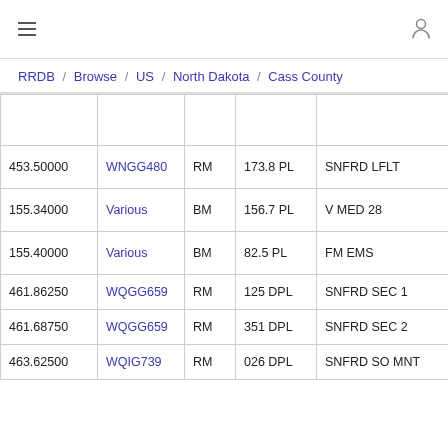≡  (user icon)
RRDB / Browse / US / North Dakota / Cass County
| Frequency | License | Type | Tone | Description |
| --- | --- | --- | --- | --- |
|  |  |  |  |  |
| 453.50000 | WNGG480 | RM | 173.8 PL | SNFRD LFLT |
| 155.34000 | Various | BM | 156.7 PL | V MED 28 |
| 155.40000 | Various | BM | 82.5 PL | FM EMS |
| 461.86250 | WQGG659 | RM | 125 DPL | SNFRD SEC 1 |
| 461.68750 | WQGG659 | RM | 351 DPL | SNFRD SEC 2 |
| 463.62500 | WQIG739 | RM | 026 DPL | SNFRD SO MNT |